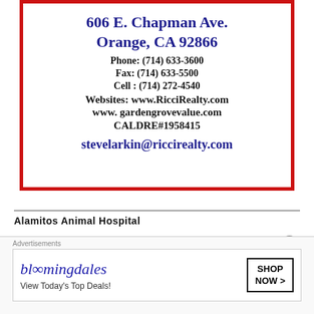606 E. Chapman Ave.
Orange, CA 92866
Phone: (714) 633-3600
Fax: (714) 633-5500
Cell : (714) 272-4540
Websites: www.RicciRealty.com
www. gardengrovevalue.com
CALDRE#1958415
stevelarkin@riccirealty.com
Alamitos Animal Hospital
[Figure (photo): Partial view of animals (dogs) at Alamitos Animal Hospital, with a blue bar overlay at top]
[Figure (infographic): Bloomingdales advertisement banner: 'View Today's Top Deals!' with a woman in a hat and SHOP NOW > button]